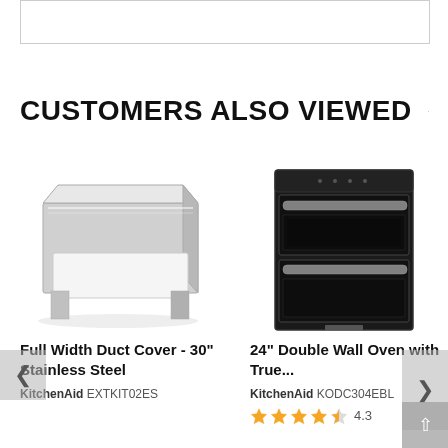[Figure (photo): Partial product image at top of page, cropped]
CUSTOMERS ALSO VIEWED
[Figure (photo): Full Width Duct Cover - stainless steel rectangular duct cover product image]
Full Width Duct Cover - 30" Stainless Steel
KitchenAid EXTKIT02ES
[Figure (photo): 24 inch Double Wall Oven - black double oven appliance product image]
24" Double Wall Oven with True...
KitchenAid KODC304EBL
4.3